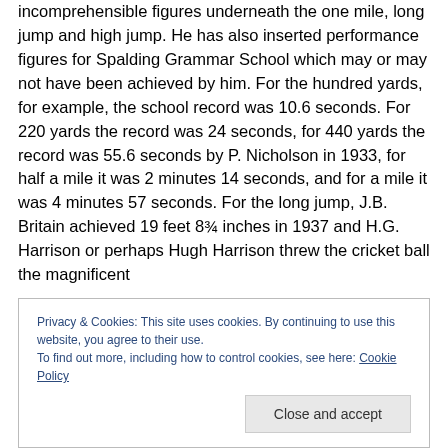incomprehensible figures underneath the one mile, long jump and high jump. He has also inserted performance figures for Spalding Grammar School which may or may not have been achieved by him. For the hundred yards, for example, the school record was 10.6 seconds. For 220 yards the record was 24 seconds, for 440 yards the record was 55.6 seconds by P. Nicholson in 1933, for half a mile it was 2 minutes 14 seconds, and for a mile it was 4 minutes 57 seconds. For the long jump, J.B. Britain achieved 19 feet 8¾ inches in 1937 and H.G. Harrison or perhaps Hugh Harrison threw the cricket ball the magnificent
Privacy & Cookies: This site uses cookies. By continuing to use this website, you agree to their use.
To find out more, including how to control cookies, see here: Cookie Policy